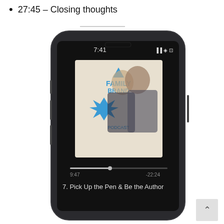27:45 – Closing thoughts
[Figure (photo): A smartphone (dark-colored, resembling an iPhone) displayed at a slight angle showing a podcast app screen. The screen shows the 'Family Brand Podcast' album art featuring a man and woman, playback time 9:47 with -22:24 remaining, and the episode title '7. Pick Up the Pen & Be the Author'. Status bar shows 7:41, signal, WiFi, and battery icons.]